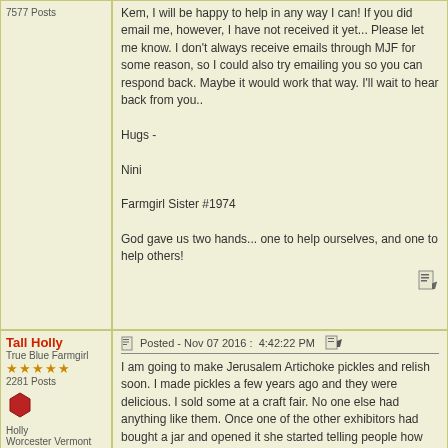7577 Posts
Kem, I will be happy to help in any way I can! If you did email me, however, I have not received it yet... Please let me know. I don't always receive emails through MJF for some reason, so I could also try emailing you so you can respond back. Maybe it would work that way. I'll wait to hear back from you..

Hugs -

Nini

Farmgirl Sister #1974

God gave us two hands... one to help ourselves, and one to help others!
Tall Holly
True Blue Farmgirl
2281 Posts
Holly
Worcester Vermont
USA
2281 Posts
Posted - Nov 07 2016 :  4:42:22 PM
I am going to make Jerusalem Artichoke pickles and relish soon. I made pickles a few years ago and they were delicious. I sold some at a craft fair. No one else had anything like them. Once one of the other exhibitors had bought a jar and opened it she started telling people how tasty they were and I some many more jars.

Holly
farmgirl #2499